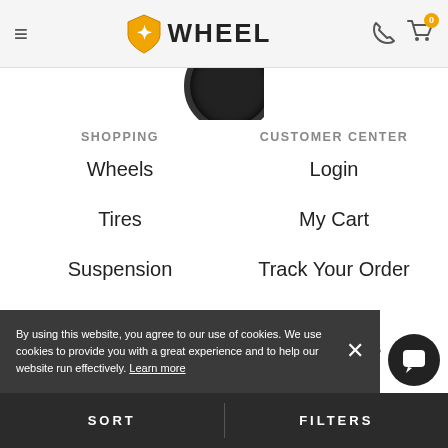WHEEL
SHOPPING
Wheels
Tires
Suspension
Brands
OEM Replicas
Today's Deals
CUSTOMER CENTER
Login
My Cart
Track Your Order
Terms and Conditions
icy / FAQs
s and Refund Policy
By using this website, you agree to our use of cookies. We use cookies to provide you with a great experience and to help our website run effectively. Learn more
SORT    FILTERS